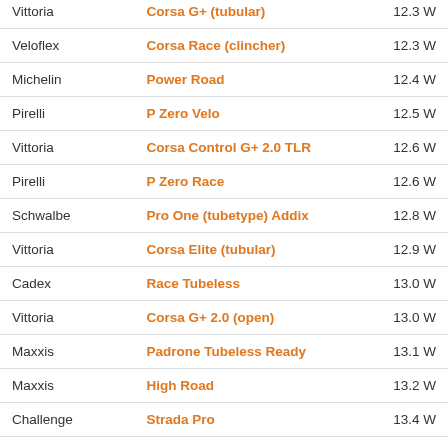| Brand | Model | Watts |
| --- | --- | --- |
| Vittoria | Corsa G+ (tubular) | 12.3 W |
| Veloflex | Corsa Race (clincher) | 12.3 W |
| Michelin | Power Road | 12.4 W |
| Pirelli | P Zero Velo | 12.5 W |
| Vittoria | Corsa Control G+ 2.0 TLR | 12.6 W |
| Pirelli | P Zero Race | 12.6 W |
| Schwalbe | Pro One (tubetype) Addix | 12.8 W |
| Vittoria | Corsa Elite (tubular) | 12.9 W |
| Cadex | Race Tubeless | 13.0 W |
| Vittoria | Corsa G+ 2.0 (open) | 13.0 W |
| Maxxis | Padrone Tubeless Ready | 13.1 W |
| Maxxis | High Road | 13.2 W |
| Challenge | Strada Pro | 13.4 W |